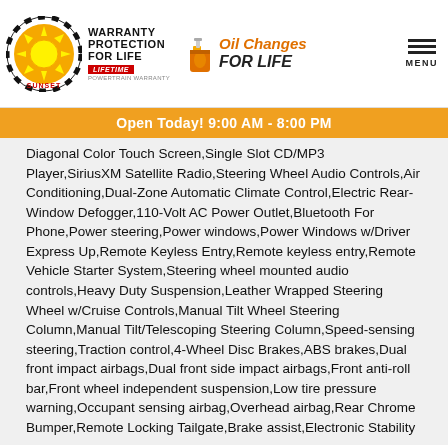Sunset — Warranty Protection For Life | Oil Changes For Life | MENU
Open Today! 9:00 AM - 8:00 PM
Diagonal Color Touch Screen,Single Slot CD/MP3 Player,SiriusXM Satellite Radio,Steering Wheel Audio Controls,Air Conditioning,Dual-Zone Automatic Climate Control,Electric Rear-Window Defogger,110-Volt AC Power Outlet,Bluetooth For Phone,Power steering,Power windows,Power Windows w/Driver Express Up,Remote Keyless Entry,Remote keyless entry,Remote Vehicle Starter System,Steering wheel mounted audio controls,Heavy Duty Suspension,Leather Wrapped Steering Wheel w/Cruise Controls,Manual Tilt Wheel Steering Column,Manual Tilt/Telescoping Steering Column,Speed-sensing steering,Traction control,4-Wheel Disc Brakes,ABS brakes,Dual front impact airbags,Dual front side impact airbags,Front anti-roll bar,Front wheel independent suspension,Low tire pressure warning,Occupant sensing airbag,Overhead airbag,Rear Chrome Bumper,Remote Locking Tailgate,Brake assist,Electronic Stability